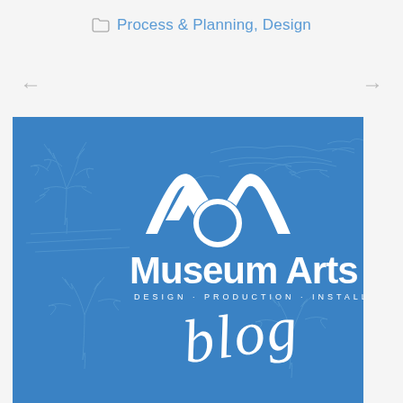Process & Planning, Design
[Figure (logo): Museum Arts blog logo on blue background with sketch artwork. White logo shows stylized M-shape and text 'Museum Arts - DESIGN · PRODUCTION · INSTALLATION' with cursive 'blog' text below, all on a blue illustrated background with nature sketches.]